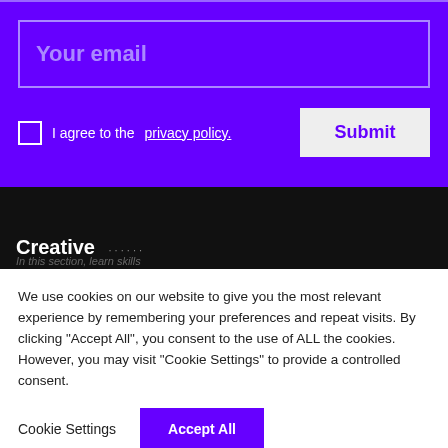Your email
I agree to the privacy policy.
Submit
Creative
We use cookies on our website to give you the most relevant experience by remembering your preferences and repeat visits. By clicking "Accept All", you consent to the use of ALL the cookies. However, you may visit "Cookie Settings" to provide a controlled consent.
Cookie Settings
Accept All